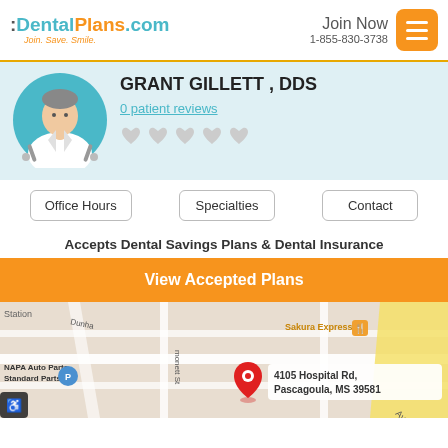:DentalPlans.com Join. Save. Smile. | Join Now 1-855-830-3738
[Figure (illustration): Doctor avatar: cartoon dentist in teal circle with white coat]
GRANT GILLETT , DDS
0 patient reviews
[Figure (infographic): Five light gray heart rating icons in a row]
Office Hours
Specialties
Contact
Accepts Dental Savings Plans & Dental Insurance
View Accepted Plans
[Figure (map): Google Maps screenshot showing 4105 Hospital Rd, Pascagoula, MS 39581 with a red pin marker. Nearby labels: Sakura Express, NAPA Auto Parts Standard Parts, Station, Dunha, monett St, Ave.]